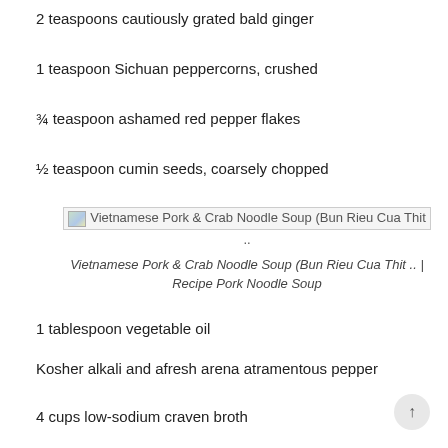2 teaspoons cautiously grated bald ginger
1 teaspoon Sichuan peppercorns, crushed
¾ teaspoon ashamed red pepper flakes
½ teaspoon cumin seeds, coarsely chopped
[Figure (photo): Broken image placeholder for Vietnamese Pork & Crab Noodle Soup (Bun Rieu Cua Thit ..]
Vietnamese Pork & Crab Noodle Soup (Bun Rieu Cua Thit .. | Recipe Pork Noodle Soup
1 tablespoon vegetable oil
Kosher alkali and afresh arena atramentous pepper
4 cups low-sodium craven broth